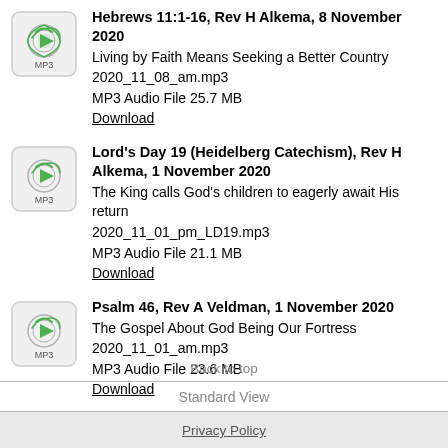Hebrews 11:1-16, Rev H Alkema, 8 November 2020 | Living by Faith Means Seeking a Better Country | 2020_11_08_am.mp3 | MP3 Audio File 25.7 MB | Download
Lord's Day 19 (Heidelberg Catechism), Rev H Alkema, 1 November 2020 | The King calls God's children to eagerly await His return | 2020_11_01_pm_LD19.mp3 | MP3 Audio File 21.1 MB | Download
Psalm 46, Rev A Veldman, 1 November 2020 | The Gospel About God Being Our Fortress | 2020_11_01_am.mp3 | MP3 Audio File 23.6 MB | Download
Back to top
Standard View
Privacy Policy